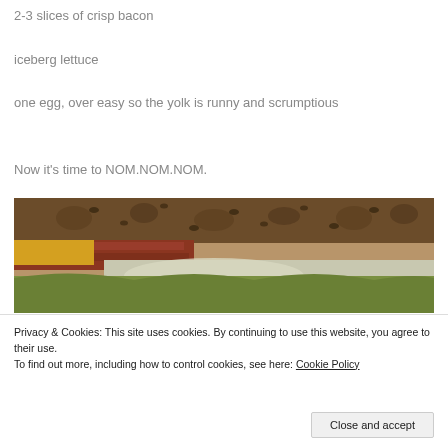2-3 slices of crisp bacon
iceberg lettuce
one egg, over easy so the yolk is runny and scrumptious
Now it’s time to NOM.NOM.NOM.
[Figure (photo): Close-up photo of a sandwich showing bacon, lettuce, and egg on a bun]
Privacy & Cookies: This site uses cookies. By continuing to use this website, you agree to their use.
To find out more, including how to control cookies, see here: Cookie Policy
Close and accept